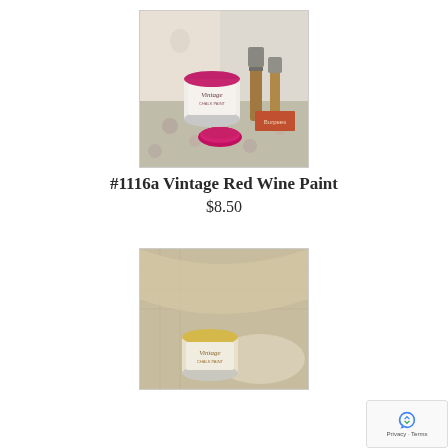[Figure (photo): A small open tin of Vintage brand paint in red/pink (Red Wine color), with lid off showing pink paint inside, next to a brush and some books, on a floral fabric background.]
#1116a Vintage Red Wine Paint
$8.50
[Figure (photo): A small tin of Vintage brand paint in a yellow/cream color, sitting on burlap fabric.]